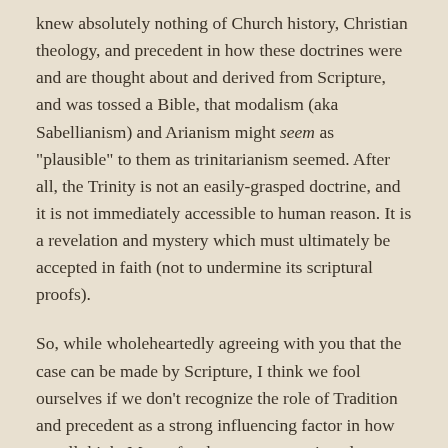knew absolutely nothing of Church history, Christian theology, and precedent in how these doctrines were and are thought about and derived from Scripture, and was tossed a Bible, that modalism (aka Sabellianism) and Arianism might seem as "plausible" to them as trinitarianism seemed. After all, the Trinity is not an easily-grasped doctrine, and it is not immediately accessible to human reason. It is a revelation and mystery which must ultimately be accepted in faith (not to undermine its scriptural proofs).
So, while wholeheartedly agreeing with you that the case can be made by Scripture, I think we fool ourselves if we don't recognize the role of Tradition and precedent as a strong influencing factor in how we all think. Most of us have grown up in cultures and/or households where trinitarianism and the Deity of Christ was taken for granted. It was the air we breathed.